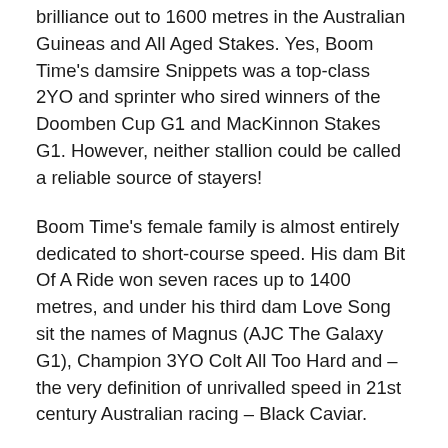brilliance out to 1600 metres in the Australian Guineas and All Aged Stakes. Yes, Boom Time's damsire Snippets was a top-class 2YO and sprinter who sired winners of the Doomben Cup G1 and MacKinnon Stakes G1. However, neither stallion could be called a reliable source of stayers!
Boom Time's female family is almost entirely dedicated to short-course speed. His dam Bit Of A Ride won seven races up to 1400 metres, and under his third dam Love Song sit the names of Magnus (AJC The Galaxy G1), Champion 3YO Colt All Too Hard and – the very definition of unrivalled speed in 21st century Australian racing – Black Caviar.
Boom Time is the 13th Group 1 winner for 2007 Champion Sire Flying Spur, still in good health at the age of 25 and very happily enjoying his retirement at Arrowfield, on the farm he did so much to help build.